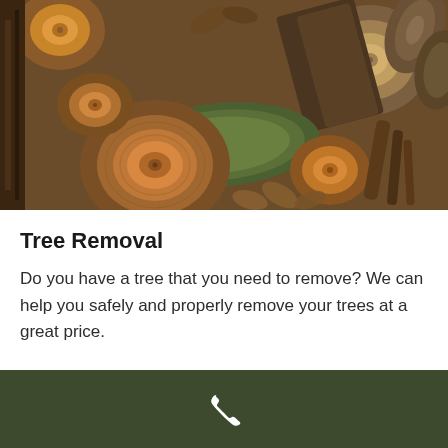[Figure (photo): Close-up photograph of multiple cut tree logs stacked together, showing cross-sections of various sizes with visible wood grain rings, some with green moss on bark, and dried leaves scattered around]
Tree Removal
Do you have a tree that you need to remove? We can help you safely and properly remove your trees at a great price.
[Figure (other): Dark olive green footer bar with a white phone/call icon in the center]